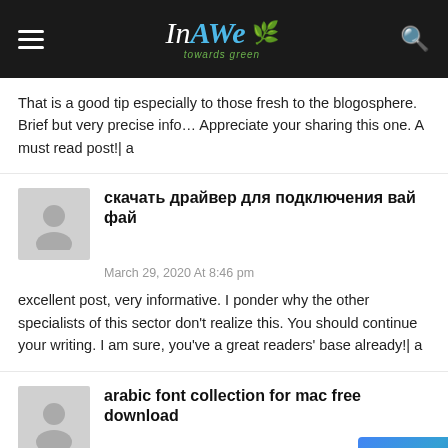InAWE towards green
That is a good tip especially to those fresh to the blogosphere. Brief but very precise info… Appreciate your sharing this one. A must read post!| a
скачать драйвер для подключения вай фай
March 29, 2020 At 8:46 pm
excellent post, very informative. I ponder why the other specialists of this sector don't realize this. You should continue your writing. I am sure, you've a great readers' base already!| a
arabic font collection for mac free download
March 30, 2020 At 7:58 am